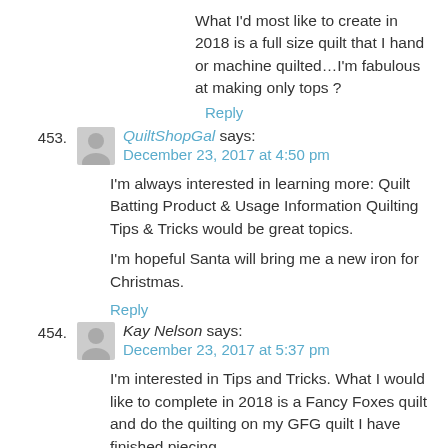What I'd most like to create in 2018 is a full size quilt that I hand or machine quilted…I'm fabulous at making only tops ?
Reply
453. QuiltShopGal says: December 23, 2017 at 4:50 pm
I'm always interested in learning more: Quilt Batting Product & Usage Information Quilting Tips & Tricks would be great topics.

I'm hopeful Santa will bring me a new iron for Christmas.
Reply
454. Kay Nelson says: December 23, 2017 at 5:37 pm
I'm interested in Tips and Tricks. What I would like to complete in 2018 is a Fancy Foxes quilt and do the quilting on my GFG quilt I have finished piecing
Reply